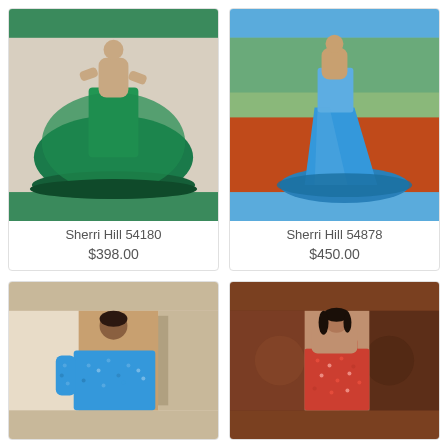[Figure (photo): Model wearing an emerald green satin ball gown]
Sherri Hill 54180
$398.00
[Figure (photo): Model wearing a sky blue satin mermaid gown]
Sherri Hill 54878
$450.00
[Figure (photo): Model wearing a one-shoulder blue sequin short dress]
[Figure (photo): Model wearing a one-shoulder red/magenta sequin gown]